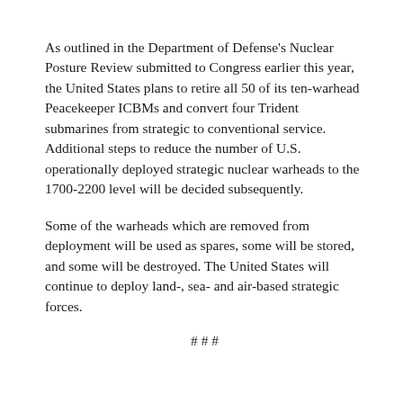As outlined in the Department of Defense's Nuclear Posture Review submitted to Congress earlier this year, the United States plans to retire all 50 of its ten-warhead Peacekeeper ICBMs and convert four Trident submarines from strategic to conventional service. Additional steps to reduce the number of U.S. operationally deployed strategic nuclear warheads to the 1700-2200 level will be decided subsequently.
Some of the warheads which are removed from deployment will be used as spares, some will be stored, and some will be destroyed. The United States will continue to deploy land-, sea- and air-based strategic forces.
# # #